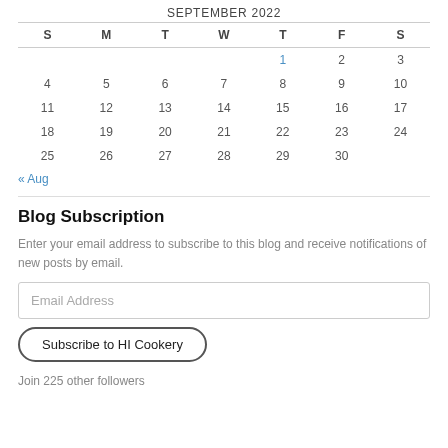SEPTEMBER 2022
| S | M | T | W | T | F | S |
| --- | --- | --- | --- | --- | --- | --- |
|  |  |  |  | 1 | 2 | 3 |
| 4 | 5 | 6 | 7 | 8 | 9 | 10 |
| 11 | 12 | 13 | 14 | 15 | 16 | 17 |
| 18 | 19 | 20 | 21 | 22 | 23 | 24 |
| 25 | 26 | 27 | 28 | 29 | 30 |  |
« Aug
Blog Subscription
Enter your email address to subscribe to this blog and receive notifications of new posts by email.
Email Address
Subscribe to HI Cookery
Join 225 other followers